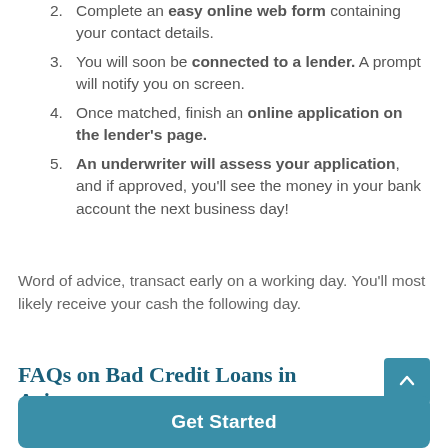2. Complete an easy online web form containing your contact details.
3. You will soon be connected to a lender. A prompt will notify you on screen.
4. Once matched, finish an online application on the lender's page.
5. An underwriter will assess your application, and if approved, you'll see the money in your bank account the next business day!
Word of advice, transact early on a working day. You'll most likely receive your cash the following day.
FAQs on Bad Credit Loans in Arizona
Get Started